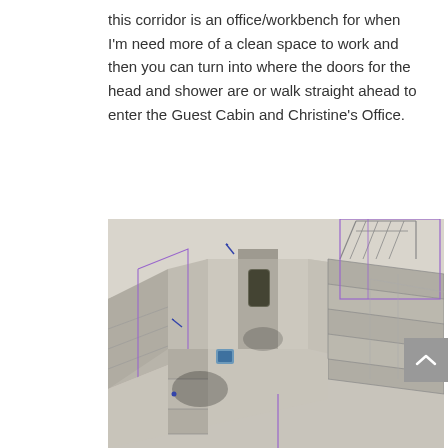this corridor is an office/workbench for when I'm need more of a clean space to work and then you can turn into where the doors for the head and shower are or walk straight ahead to enter the Guest Cabin and Christine's Office.
[Figure (engineering-diagram): 3D isometric rendering/wireframe overlay of a boat interior corridor layout showing rooms, doorways, steps, railings, and cabin spaces. Purple lines indicate design overlays on a grey 3D model.]